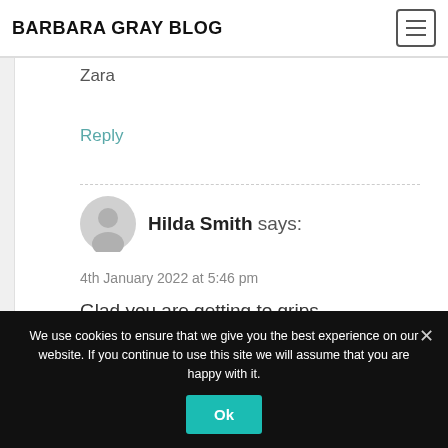BARBARA GRAY BLOG
Zara
Reply
Hilda Smith says:
4th January 2022 at 5:46 pm
Glad you are getting to grips
We use cookies to ensure that we give you the best experience on our website. If you continue to use this site we will assume that you are happy with it.